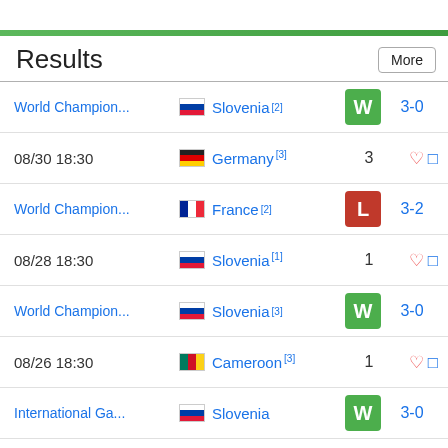Results
| Competition/Date | Team | W/L | Score | Actions |
| --- | --- | --- | --- | --- |
| World Champion... | Slovenia [2] | W | 3-0 |  |
| 08/30 18:30 | Germany [3] | 3 |  | ♡ □ |
| World Champion... | France [2] | L | 3-2 |  |
| 08/28 18:30 | Slovenia [1] | 1 |  | ♡ □ |
| World Champion... | Slovenia [3] | W | 3-0 |  |
| 08/26 18:30 | Cameroon [3] | 1 |  | ♡ □ |
| International Ga... | Slovenia | W | 3-0 |  |
| 08/23 18:30 | Iran | - |  | ♡ □ |
| FIVB Nations Le... | Poland [3] | L | 3-1 |  |
| 07/10 18:00 | Slovenia [10] | - |  | ♡ □ |
| FIVB Nations Le... | Slovenia [8] | L | 0-3 |  |